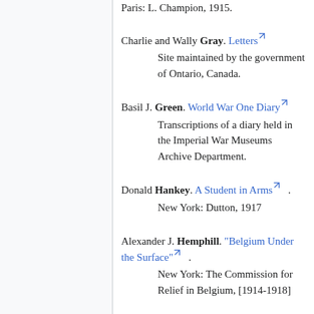Paris: L. Champion, 1915.
Charlie and Wally Gray. Letters. Site maintained by the government of Ontario, Canada.
Basil J. Green. World War One Diary. Transcriptions of a diary held in the Imperial War Museums Archive Department.
Donald Hankey. A Student in Arms. New York: Dutton, 1917
Alexander J. Hemphill. "Belgium Under the Surface". New York: The Commission for Relief in Belgium, [1914-1918]